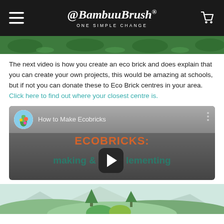@BambuuBrush — ONE SIMPLE CHANGE
[Figure (illustration): Top decorative strip with jungle/bamboo green foliage pattern]
The next video is how you create an eco brick and does explain that you can create your own projects, this would be amazing at schools, but if not you can donate these to Eco Brick centres in your area. Click here to find out where your closest centre is.
[Figure (screenshot): YouTube video embed thumbnail: 'How to Make Ecobricks' — ECOBRICKS: making & implementing, with play button]
[Figure (illustration): Bottom nature scene with mountains, trees and green creature]